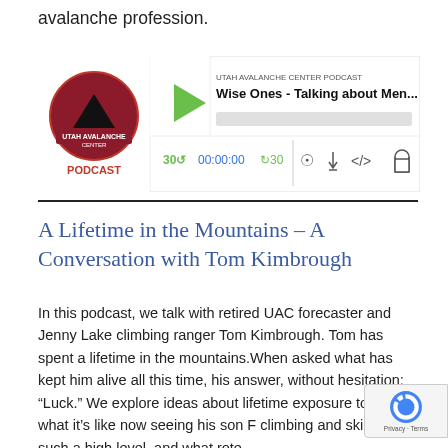avalanche profession.
[Figure (screenshot): Utah Avalanche Center Podcast player widget showing podcast episode 'Wise Ones - Talking about Men...' with play button, progress bar, time display 00:00:00, skip controls 30s back and forward, and playback icons.]
A Lifetime in the Mountains – A Conversation with Tom Kimbrough
In this podcast, we talk with retired UAC forecaster and Jenny Lake climbing ranger Tom Kimbrough. Tom has spent a lifetime in the mountains.When asked what has kept him alive all this time, his answer, without hesitation: “Luck.” We explore ideas about lifetime exposure to risk, what it’s like now seeing his son F climbing and skiing at such a high level, and what rote